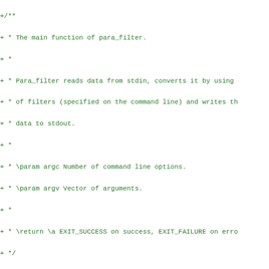[Figure (screenshot): A diff/patch view of C source code showing additions (green lines with +) and deletions (red lines with -), including a doc comment block for para_filter's main function, and code changes including struct sched s to static struct sched s, input_eof to input_error, and register_task call reordering. A hunk header line in magenta is also visible.]